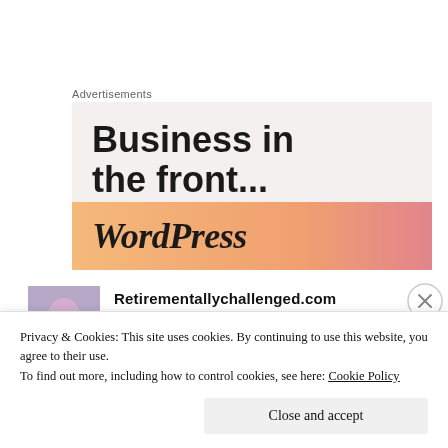Advertisements
[Figure (screenshot): WordPress advertisement banner with text 'Business in the front...' on a light pink/beige background, with an orange-to-pink gradient bar at the bottom showing 'WordPress' text]
Retirementallychallenged.com
AUGUST 14, 2016 AT 5:27 PM
Privacy & Cookies: This site uses cookies. By continuing to use this website, you agree to their use.
To find out more, including how to control cookies, see here: Cookie Policy
Close and accept